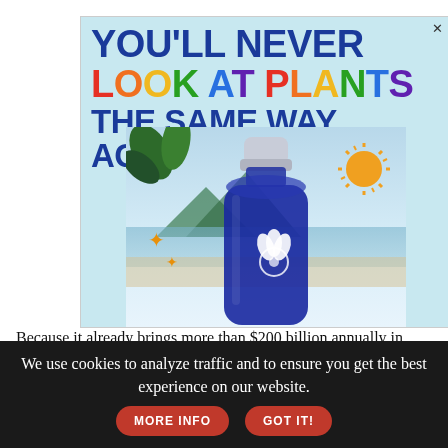[Figure (advertisement): Colorful advertisement banner with rainbow text 'YOU'LL NEVER LOOK AT PLANTS THE SAME WAY AGAIN.' featuring a dark blue bottle with a plant logo, beach/tropical background, sparkle diamond shapes, and a sun starburst graphic.]
Because it already brings more than $200 billion annually in digital ad sales, Google can afford to branch out into different directions and find new ways to connect with people, said Gartner analyst T...
We use cookies to analyze traffic and to ensure you get the best experience on our website. MORE INFO GOT IT!